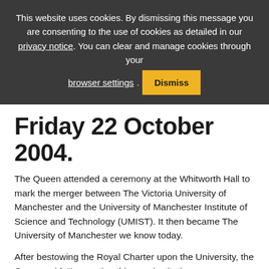This website uses cookies. By dismissing this message you are consenting to the use of cookies as detailed in our privacy notice. You can clear and manage cookies through your browser settings. Dismiss
Friday 22 October 2004.
The Queen attended a ceremony at the Whitworth Hall to mark the merger between The Victoria University of Manchester and the University of Manchester Institute of Science and Technology (UMIST). It then became The University of Manchester we know today.
After bestowing the Royal Charter upon the University, the Queen said: “In creating this new institution you are building on a rich academic heritage and a fine tradition of excellence in both